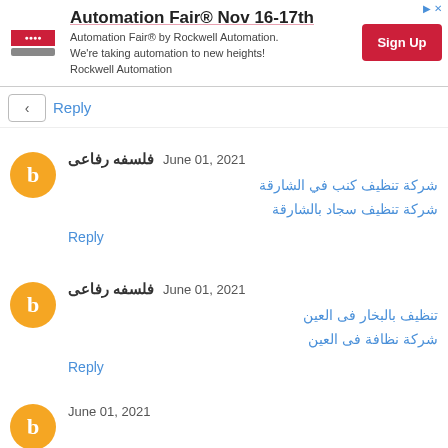[Figure (infographic): Advertisement banner: Automation Fair® Nov 16-17th by Rockwell Automation with Sign Up button]
Reply
فلسفه رفاعى June 01, 2021
شركة تنظيف كنب في الشارقة
شركة تنظيف سجاد بالشارقة
Reply
فلسفه رفاعى June 01, 2021
تنظيف بالبخار فى العين
شركة نظافة فى العين
Reply
June 01, 2021